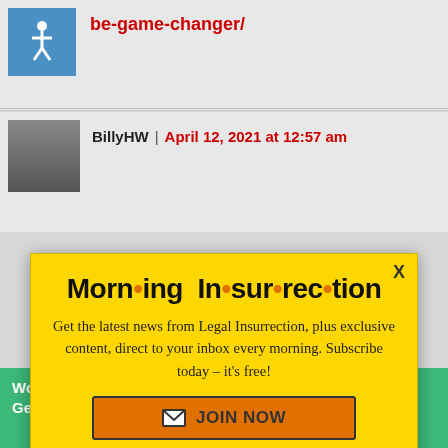be-game-changer/
BillyHW | April 12, 2021 at 12:57 am
[Figure (screenshot): Yellow modal popup for Morning Insurrection newsletter subscription with close X button, orange JOIN NOW button, overlaid on a blog comment page]
thanx Mr Branca Mr Jacobson for your great coverage of this case
Back To Top
lloyds death
Working from home?
Get your projects done on fiverr